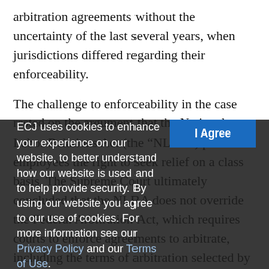arbitration agreements without the uncertainty of the last several years, when jurisdictions differed regarding their enforceability.
The challenge to enforceability in the case rested on the argument that the National Labor Relations Act (the “NLRA”) provides employees the right to seek relief on a class basis. The Supreme Court ultimately concluded that the NLRA does not override the Federal Arbitration Act, which requires courts to enforce agreements to arbitrate, including the terms of arbitration selected by the parties.
This decision consolidated three cases that represented a split among federal court circuits. The three cases include Morris et al v. Ernst & Young, LLP,
ECJ uses cookies to enhance your experience on our website, to better understand how our website is used and to help provide security. By using our website you agree to our use of cookies. For more information see our Privacy Policy and our Terms of Use.